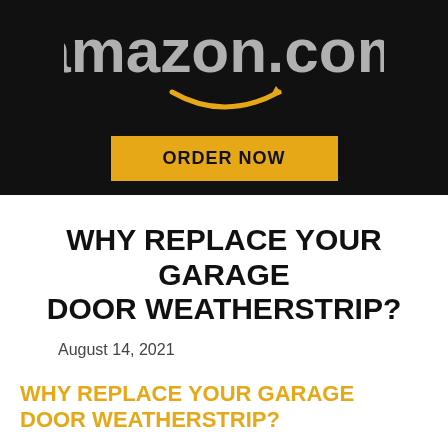[Figure (logo): Amazon.com logo on dark/black background with golden smile arrow underneath, and an orange/yellow ORDER NOW button below]
WHY REPLACE YOUR GARAGE DOOR WEATHERSTRIP?
August 14, 2021
WHY REPLACE YOUR GARAGE DOOR WEATHERSTRIP?
An often-ignored energy expense is the garage and the garage door. Many good garage doors